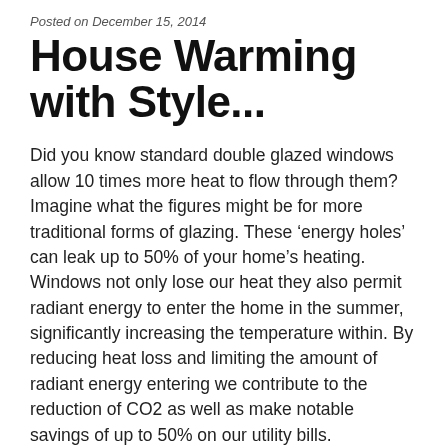Posted on December 15, 2014
House Warming with Style...
Did you know standard double glazed windows allow 10 times more heat to flow through them? Imagine what the figures might be for more traditional forms of glazing. These ‘energy holes’ can leak up to 50% of your home’s heating. Windows not only lose our heat they also permit radiant energy to enter the home in the summer, significantly increasing the temperature within. By reducing heat loss and limiting the amount of radiant energy entering we contribute to the reduction of CO2 as well as make notable savings of up to 50% on our utility bills.